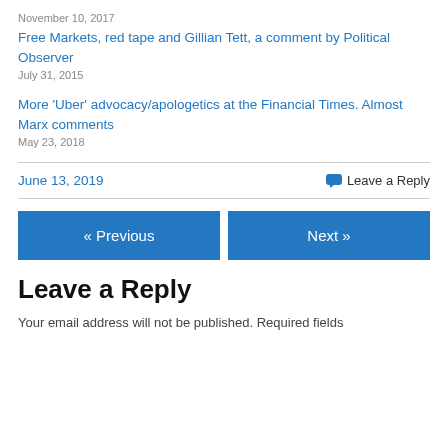November 10, 2017
Free Markets, red tape and Gillian Tett, a comment by Political Observer
July 31, 2015
More ‘Uber’ advocacy/apologetics at the Financial Times. Almost Marx comments
May 23, 2018
June 13, 2019
Leave a Reply
« Previous
Next »
Leave a Reply
Your email address will not be published. Required fields